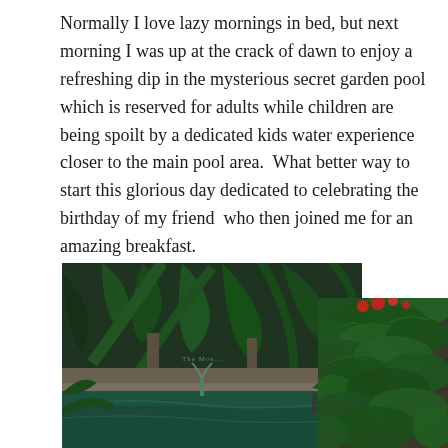Normally I love lazy mornings in bed, but next morning I was up at the crack of dawn to enjoy a refreshing dip in the mysterious secret garden pool which is reserved for adults while children are being spoilt by a dedicated kids water experience closer to the main pool area.  What better way to start this glorious day dedicated to celebrating the birthday of my friend  who then joined me for an amazing breakfast.
[Figure (photo): Lush tropical garden pool area with palm trees, green plants, stone columns and a pool visible in the foreground. Dark, moody, atmospheric photography.]
[Figure (photo): Dense green tropical foliage and plants growing on a stone wall, with red flowers visible at the top. Close-up nature photography.]